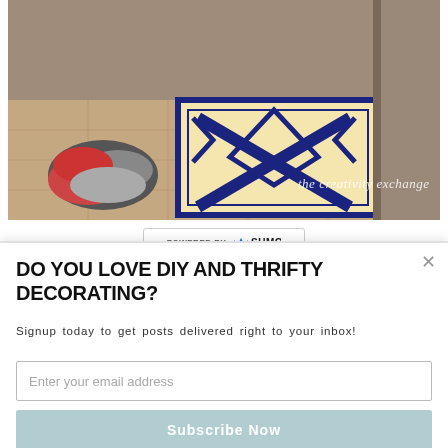[Figure (photo): Photo of an entryway/mudroom showing a geometric black and cream patterned rug on tile floor, with shoes/sneakers visible to the left side. Text overlay reads 'the creativity exchange' in script font.]
[Figure (logo): POWERED BY SUMO badge/button with Sumo crown logo in blue]
DO YOU LOVE DIY AND THRIFTY DECORATING?
Signup today to get posts delivered right to your inbox!
Enter your email address
Subscribe Now